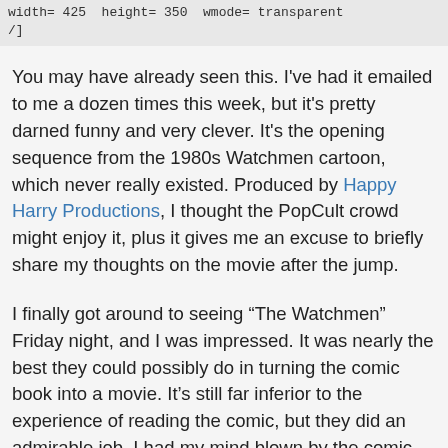width= 425  height= 350  wmode= transparent
/]
You may have already seen this. I've had it emailed to me a dozen times this week, but it's pretty darned funny and very clever. It's the opening sequence from the 1980s Watchmen cartoon, which never really existed. Produced by Happy Harry Productions, I thought the PopCult crowd might enjoy it, plus it gives me an excuse to briefly share my thoughts on the movie after the jump.
I finally got around to seeing “The Watchmen” Friday night, and I was impressed. It was nearly the best they could possibly do in turning the comic book into a movie. It’s still far inferior to the experience of reading the comic, but they did an admirable job. I had my mind blown by the comic book when it was published 24 years ago, so this was something I looked to with a mixture of anticipation and trepidation.